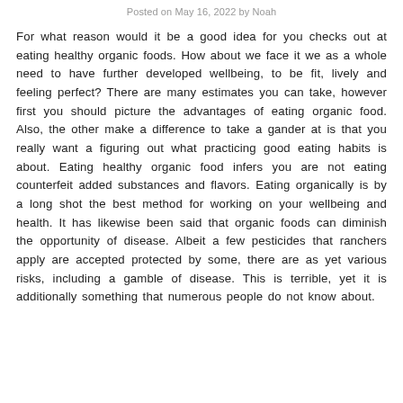Posted on May 16, 2022 by Noah
For what reason would it be a good idea for you checks out at eating healthy organic foods. How about we face it we as a whole need to have further developed wellbeing, to be fit, lively and feeling perfect? There are many estimates you can take, however first you should picture the advantages of eating organic food. Also, the other make a difference to take a gander at is that you really want a figuring out what practicing good eating habits is about. Eating healthy organic food infers you are not eating counterfeit added substances and flavors. Eating organically is by a long shot the best method for working on your wellbeing and health. It has likewise been said that organic foods can diminish the opportunity of disease. Albeit a few pesticides that ranchers apply are accepted protected by some, there are as yet various risks, including a gamble of disease. This is terrible, yet it is additionally something that numerous people do not know about.